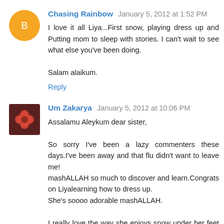Chasing Rainbow  January 5, 2012 at 1:52 PM
I love it all Liya...First snow, playing dress up and Putting mom to sleep with stories. I can't wait to see what else you've been doing.

Salam alaikum.
Reply
Um Zakarya  January 5, 2012 at 10:06 PM
Assalamu Aleykum dear sister,

So sorry I've been a lazy commenters these days.I've been away and that flu didn't want to leave me!
mashALLAH so much to discover and learn.Congrats on Liyalearning how to dress up.
She's soooo adorable mashALLAH.

I really love the way she enjoys snow under her feet in the video.Precious moments mashALLAH.Enjoy every bit of it.